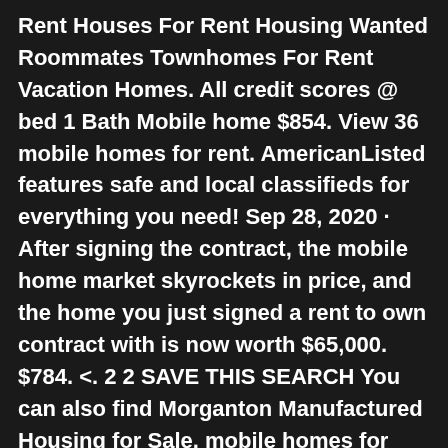Rent Houses For Rent Housing Wanted Roommates Townhomes For Rent Vacation Homes. All credit scores @ bed 1 Bath Mobile home $854. View 36 mobile homes for rent. AmericanListed features safe and local classifieds for everything you need! Sep 28, 2020 · After signing the contract, the mobile home market skyrockets in price, and the home you just signed a rent to own contract with is now worth $65,000. $784. <. 2 2 SAVE THIS SEARCH You can also find Morganton Manufactured Housing for Sale. mobile homes for rent nc manufactured homes for rent nc › Verified 9 days ago While we do offer mobile homes for rent, we also make it easy for you to rent with the option to buy so you can own your home! Once you become a part of the Colony Park community, you won't want to leave. 5+2+3+4+ Home Type Checkmark Select All Houses Townhomes Multi-family Condos/Co-ops Lots/Land